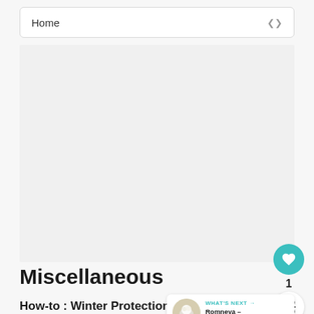Home
[Figure (other): Advertisement or image placeholder area, light grey background]
Miscellaneous
How-to : Winter Protection for Ro…
F. Start off by keeping your plants healthy and